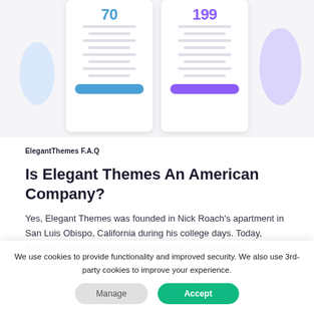[Figure (screenshot): Screenshot of a pricing comparison page showing two pricing cards. Left card shows '70' in blue with several feature lines and a blue 'SIGN UP TODAY' button. Right card shows '199' in purple with several feature lines, a purple circle decoration, and a purple 'SIGN UP TODAY' button.]
ElegantThemes F.A.Q
Is Elegant Themes An American Company?
Yes, Elegant Themes was founded in Nick Roach's apartment in San Luis Obispo, California during his college days. Today, Elegant Themes has its headquarters in San Francisco, California.
We use cookies to provide functionality and improved security. We also use 3rd-party cookies to improve your experience.